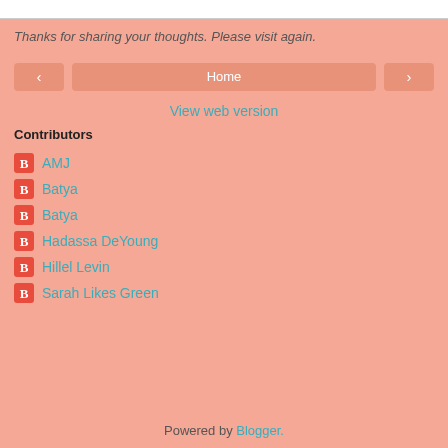Thanks for sharing your thoughts. Please visit again.
Home (navigation button)
View web version
Contributors
AMJ
Batya
Batya
Hadassa DeYoung
Hillel Levin
Sarah Likes Green
Powered by Blogger.